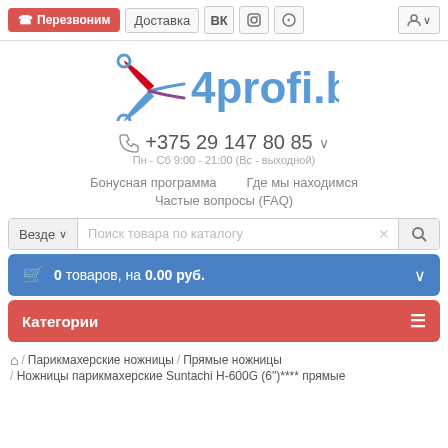Перезвоним | Доставка | ВК | Instagram | Telegram | User account
[Figure (logo): 4profi.by logo with scissors icon in blue]
+375 29 147 80 85
Пн - Сб 9:00 - 21:00 (Вс - выходной)
Бонусная программа
Где мы находимся
Частые вопросы (FAQ)
Везде | Поиск товара по каталогу
0 товаров, на 0.00 руб.
Категории
/ Парикмахерские ножницы / Прямые ножницы / Ножницы парикмахерские Suntachi H-600G (6")**** прямые